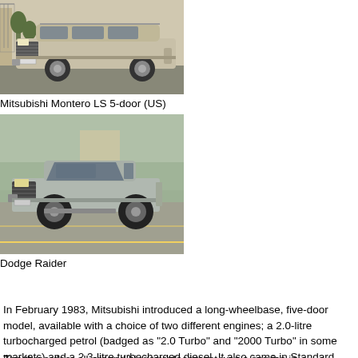[Figure (photo): Silver Mitsubishi Montero LS 5-door SUV parked on a street]
Mitsubishi Montero LS 5-door (US)
[Figure (photo): Silver Dodge Raider 2-door SUV parked in a parking lot]
Dodge Raider
In February 1983, Mitsubishi introduced a long-wheelbase, five-door model, available with a choice of two different engines; a 2.0-litre turbocharged petrol (badged as "2.0 Turbo" and "2000 Turbo" in some markets) and a 2.3-litre turbocharged diesel. It also came in Standard, Semi-High Roof and High Roof body styles. Outside of Japan there was also the 2.6-liter petrol four, which produced 103 PS (76 kW) in European trim.[21]
The three-door all-around hinge replacement was a service in...